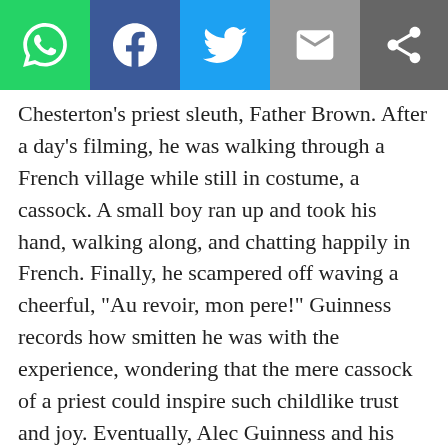[Figure (infographic): Social media share bar with WhatsApp (green), Facebook (blue), Twitter (light blue), Email (grey), and a generic share button (dark grey) icons]
Chesterton’s priest sleuth, Father Brown. After a day’s filming, he was walking through a French village while still in costume, a cassock. A small boy ran up and took his hand, walking along, and chatting happily in French. Finally, he scampered off waving a cheerful, “Au revoir, mon pere!” Guinness records how smitten he was with the experience, wondering that the mere cassock of a priest could inspire such childlike trust and joy. Eventually, Alec Guinness and his wife Merula would be received into the Catholic Church.
The people of God want to trust priests, because they sense innately that we have been singled out by God for a vocation not of our own choosing, for a mission we did not